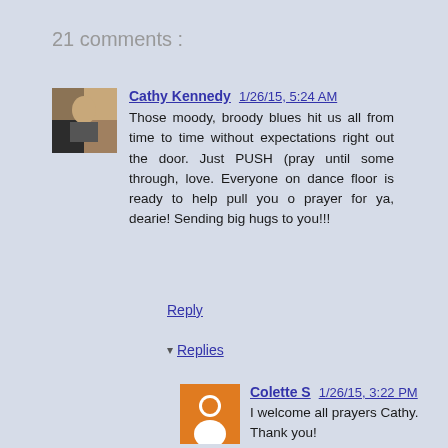21 comments :
Cathy Kennedy 1/26/15, 5:24 AM
Those moody, broody blues hit us all from time to time without expectations right out the door. Just PUSH (pray until some through, love. Everyone on dance floor is ready to help pull you o prayer for ya, dearie! Sending big hugs to you!!!
Reply
▾ Replies
Colette S 1/26/15, 3:22 PM
I welcome all prayers Cathy. Thank you!
I love that PUSH.